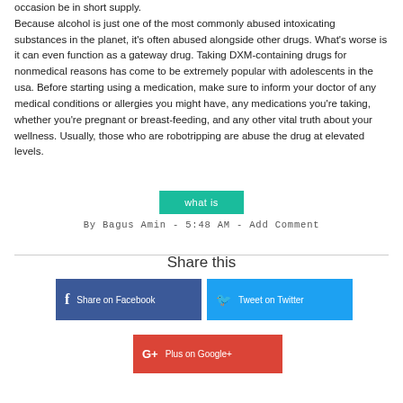occasion be in short supply. Because alcohol is just one of the most commonly abused intoxicating substances in the planet, it's often abused alongside other drugs. What's worse is it can even function as a gateway drug. Taking DXM-containing drugs for nonmedical reasons has come to be extremely popular with adolescents in the usa. Before starting using a medication, make sure to inform your doctor of any medical conditions or allergies you might have, any medications you're taking, whether you're pregnant or breast-feeding, and any other vital truth about your wellness. Usually, those who are robotripping are abuse the drug at elevated levels.
what is
By Bagus Amin - 5:48 AM - Add Comment
Share this
Share on Facebook
Tweet on Twitter
Plus on Google+